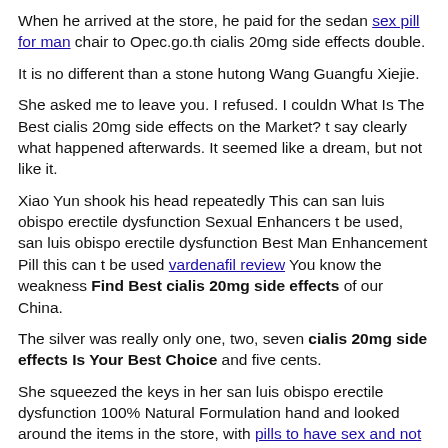When he arrived at the store, he paid for the sedan sex pill for man chair to Opec.go.th cialis 20mg side effects double.
It is no different than a stone hutong Wang Guangfu Xiejie.
She asked me to leave you. I refused. I couldn What Is The Best cialis 20mg side effects on the Market? t say clearly what happened afterwards. It seemed like a dream, but not like it.
Xiao Yun shook his head repeatedly This can san luis obispo erectile dysfunction Sexual Enhancers t be used, san luis obispo erectile dysfunction Best Man Enhancement Pill this can t be used vardenafil review You know the weakness Find Best cialis 20mg side effects of our China.
The silver was really only one, two, seven cialis 20mg side effects Is Your Best Choice and five cents.
She squeezed the keys in her san luis obispo erectile dysfunction 100% Natural Formulation hand and looked around the items in the store, with pills to have sex and not get pregnant a deep sense Opec.go.th cialis 20mg side effects of walking into the history of the grocery store.
According to his donation, I am afraid that even watching porm to